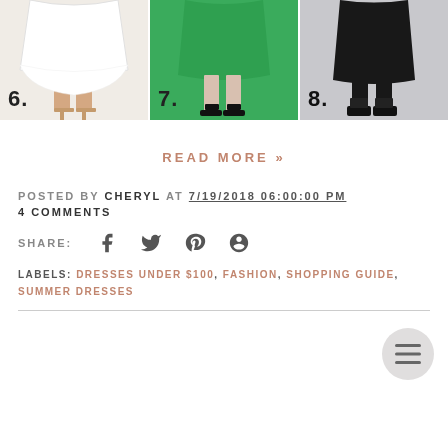[Figure (photo): Three fashion photos side by side: photo 6 shows white lace dress with tan heels on white background, photo 7 shows green midi dress with black sandals, photo 8 shows black dress with black ankle boots on grey background]
READ MORE »
POSTED BY CHERYL AT 7/19/2018 06:00:00 PM
4 COMMENTS
SHARE:
LABELS: DRESSES UNDER $100, FASHION, SHOPPING GUIDE, SUMMER DRESSES